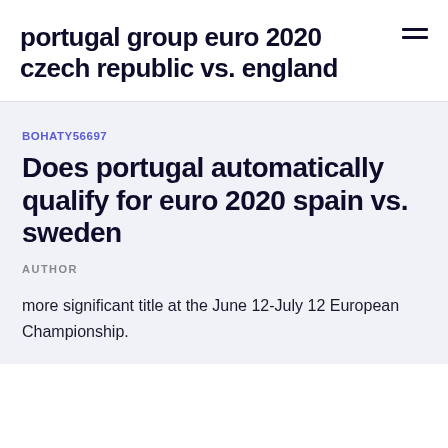portugal group euro 2020 czech republic vs. england
BOHATY56697
Does portugal automatically qualify for euro 2020 spain vs. sweden
AUTHOR
more significant title at the June 12-July 12 European Championship.